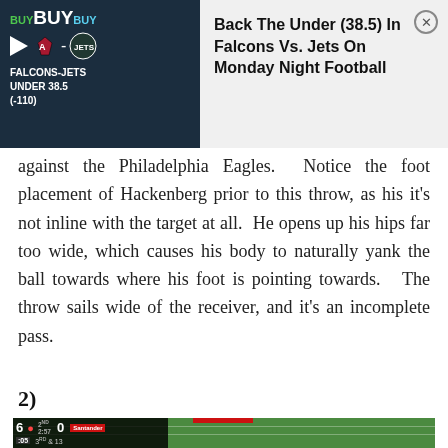[Figure (screenshot): Advertisement banner for betting: 'Back The Under (38.5) In Falcons Vs. Jets On Monday Night Football' with Falcons and Jets logos showing FALCONS-JETS UNDER 38.5 (-110)]
against the Philadelphia Eagles. Notice the foot placement of Hackenberg prior to this throw, as his it's not inline with the target at all. He opens up his hips far too wide, which causes his body to naturally yank the ball towards where his foot is pointing towards. The throw sails wide of the receiver, and it's an incomplete pass.
2)
[Figure (screenshot): NFL game footage screenshot showing scoreboard with score 6-0, 2nd quarter 2:57, :05, 3rd & 13, players on green field]